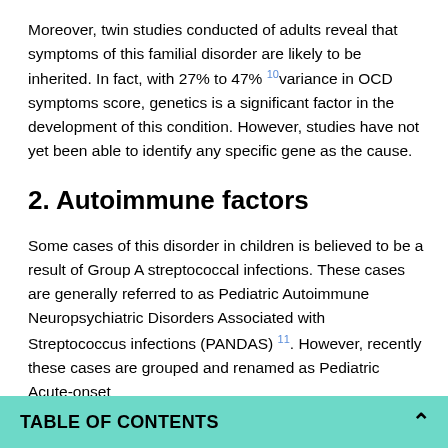Moreover, twin studies conducted of adults reveal that symptoms of this familial disorder are likely to be inherited. In fact, with 27% to 47% 10 variance in OCD symptoms score, genetics is a significant factor in the development of this condition. However, studies have not yet been able to identify any specific gene as the cause.
2. Autoimmune factors
Some cases of this disorder in children is believed to be a result of Group A streptococcal infections. These cases are generally referred to as Pediatric Autoimmune Neuropsychiatric Disorders Associated with Streptococcus infections (PANDAS) 11. However, recently these cases are grouped and renamed as Pediatric Acute-onset
TABLE OF CONTENTS